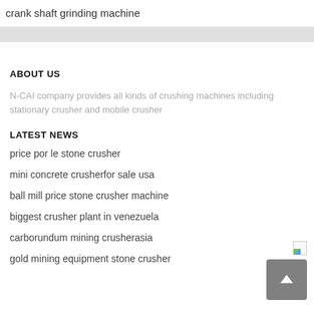crank shaft grinding machine
ABOUT US
N-CAI company provides all kinds of crushing machines including stationary crusher and mobile crusher
LATEST NEWS
price por le stone crusher
mini concrete crusherfor sale usa
ball mill price stone crusher machine
biggest crusher plant in venezuela
carborundum mining crusherasia
gold mining equipment stone crusher